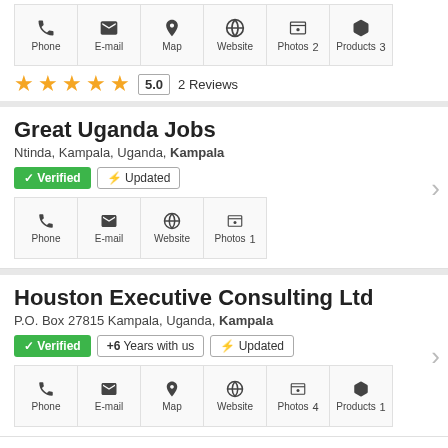[Figure (infographic): Row of icon action buttons: Phone, E-mail, Map, Website, Photos (2), Products (3)]
★★★★★ 5.0  2 Reviews
Great Uganda Jobs
Ntinda, Kampala, Uganda, Kampala
✓ Verified   ⚡ Updated
[Figure (infographic): Row of icon action buttons: Phone, E-mail, Website, Photos (1)]
Houston Executive Consulting Ltd
P.O. Box 27815 Kampala, Uganda, Kampala
✓ Verified   +6 Years with us   ⚡ Updated
[Figure (infographic): Row of icon action buttons: Phone, E-mail, Map, Website, Photos (4), Products (1)]